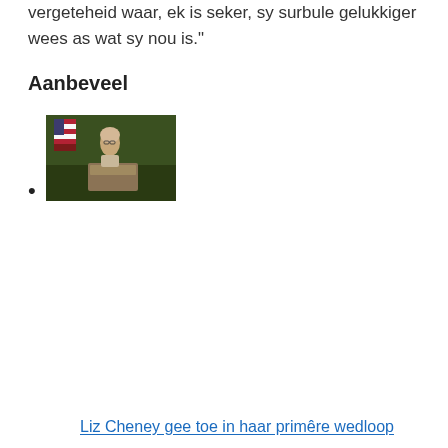vergeteheid waar, ek is seker, sy surbule gelukkiger wees as wat sy nou is."
Aanbeveel
[image thumbnail]
[Figure (photo): A woman speaking at a podium with an American flag in the background, at night or in low light.]
Liz Cheney gee toe in haar primêre wedloop